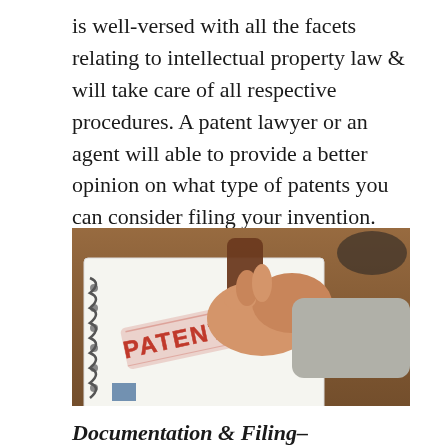is well-versed with all the facets relating to intellectual property law & will take care of all respective procedures. A patent lawyer or an agent will able to provide a better opinion on what type of patents you can consider filing your invention.
[Figure (photo): A hand holding a rubber stamp pressing down on a notebook page stamped with the word PATENTED in red ink, set on a wooden desk background.]
Documentation & Filing–